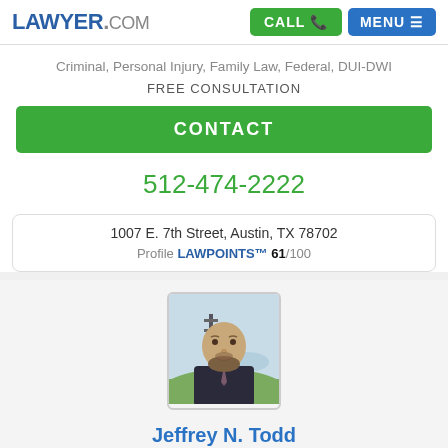[Figure (logo): Lawyer.com logo with CALL and MENU buttons]
Criminal, Personal Injury, Family Law, Federal, DUI-DWI
FREE CONSULTATION
CONTACT
512-474-2222
1007 E. 7th Street, Austin, TX 78702
Profile LAWPOINTS™ 61/100
[Figure (photo): Headshot of attorney Jeffrey N. Todd, bald man with beard wearing suit]
Jeffrey N. Todd
✓ VERIFIED
Accident & Injury, Slip & Fall Accident, Personal Injury, Car Accident, Wrongful Death